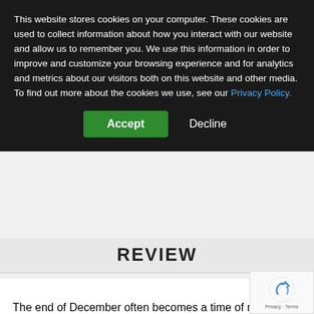This website stores cookies on your computer. These cookies are used to collect information about how you interact with our website and allow us to remember you. We use this information in order to improve and customize your browsing experience and for analytics and metrics about our visitors both on this website and other media. To find out more about the cookies we use, see our Privacy Policy.
[Figure (screenshot): Cookie consent banner with Accept (green button) and Decline buttons on dark background]
REVIEW
The end of December often becomes a time of reflection as we consider the happenings of the year and plan for the upcoming year. Over this last year in industrial imaging and machine vision, we have seen CMOS make technology leaps and approaching the quality of CCD image sensors. A new interface, CoaXPress, became a worldwide standard. It see like everyone was buzzing about 3D and machine